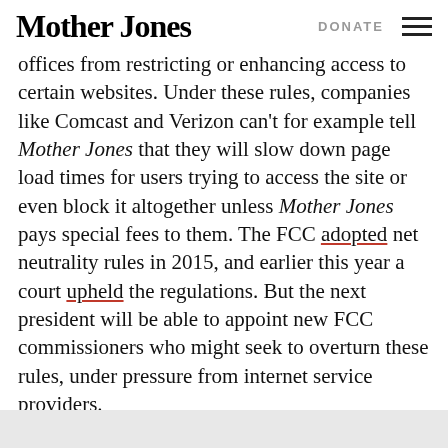Mother Jones | DONATE
offices from restricting or enhancing access to certain websites. Under these rules, companies like Comcast and Verizon can't for example tell Mother Jones that they will slow down page load times for users trying to access the site or even block it altogether unless Mother Jones pays special fees to them. The FCC adopted net neutrality rules in 2015, and earlier this year a court upheld the regulations. But the next president will be able to appoint new FCC commissioners who might seek to overturn these rules, under pressure from internet service providers.